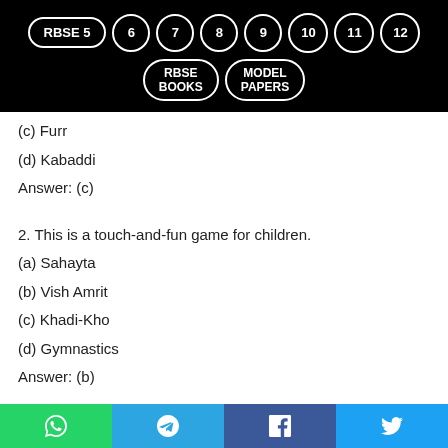RBSE 5 6 7 8 9 10 11 12 RBSE BOOKS MODEL PAPERS
(c) Furr
(d) Kabaddi
Answer: (c)
2. This is a touch-and-fun game for children.
(a) Sahayta
(b) Vish Amrit
(c) Khadi-Kho
(d) Gymnastics
Answer: (b)
3. Educational and entertaining games provide –
(a) Entertainment
WhatsApp Telegram Facebook Twitter